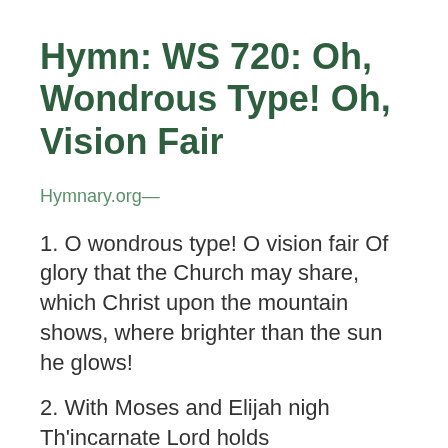Hymn: WS 720: Oh, Wondrous Type! Oh, Vision Fair
Hymnary.org—
1. O wondrous type! O vision fair Of glory that the Church may share, which Christ upon the mountain shows, where brighter than the sun he glows!
2. With Moses and Elijah nigh Th'incarnate Lord holds converse high. And from the…